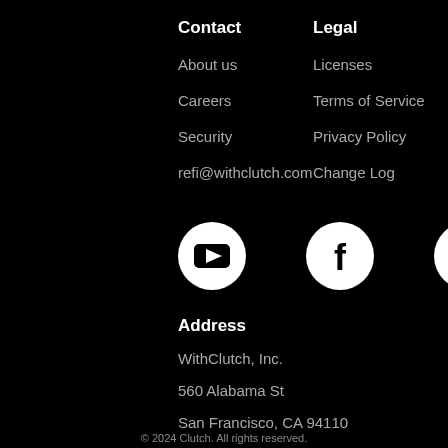Contact
About us
Careers
Security
refi@withclutch.com
Legal
Licenses
Terms of Service
Privacy Policy
Change Log
[Figure (logo): YouTube logo icon — white circle with black play button triangle]
[Figure (logo): Facebook logo icon — white circle with black lowercase f]
[Figure (logo): LinkedIn logo icon — white circle with black 'in' text]
Address
WithClutch, Inc.
560 Alabama St
San Francisco, CA 94110
© 2024 Clutch. All rights reserved.